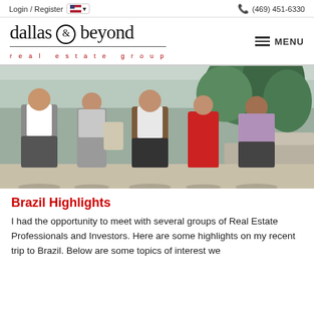Login / Register   🇺🇸 ▾   📞 (469) 451-6330
[Figure (logo): Dallas & Beyond Real Estate Group logo — large serif text 'dallas & beyond' with ampersand in circle, below it 'real estate group' in red spaced caps, underlined]
[Figure (photo): Group photo of five people (two women, three men) standing outdoors on a patio with tropical plants in the background]
Brazil Highlights
I had the opportunity to meet with several groups of Real Estate Professionals and Investors. Here are some highlights on my recent trip to Brazil. Below are some topics of interest we